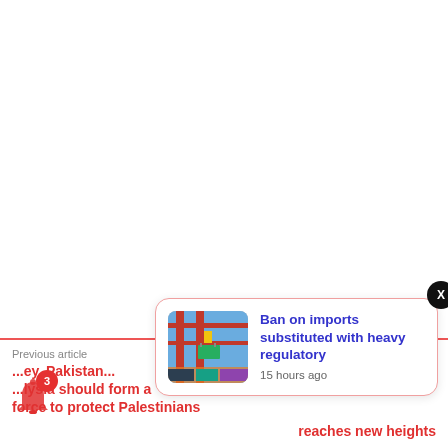[Figure (screenshot): News notification popup card showing article thumbnail of shipping/port crane scene, headline 'Ban on imports substituted with heavy regulatory' in blue bold text, and timestamp '15 hours ago'. A black X close button is at the top-right of the card.]
Previous article
...ey, Pakistan...
...lysia should form a force to protect Palestinians
...reaches new heights